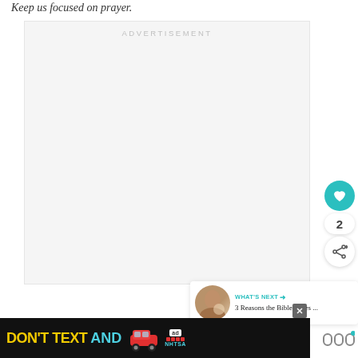Keep us focused on prayer.
[Figure (other): Advertisement placeholder box with 'ADVERTISEMENT' label in light gray text on a light gray background]
[Figure (other): Heart/like button (teal circle with white heart icon), count '2', and share button (white circle with share icon)]
[Figure (other): WHAT'S NEXT arrow label with thumbnail and title '3 Reasons the Bible Gives ...']
[Figure (other): Bottom ad banner: DON'T TEXT AND [car image] with ad/NHTSA logo and close button]
[Figure (other): Threader/share icon in bottom right]